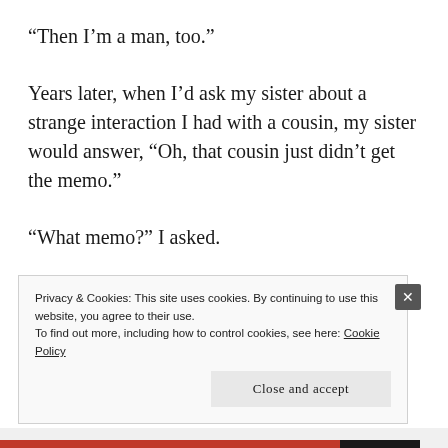“Then I’m a man, too.”
Years later, when I’d ask my sister about a strange interaction I had with a cousin, my sister would answer, “Oh, that cousin just didn’t get the memo.”
“What memo?” I asked.
Privacy & Cookies: This site uses cookies. By continuing to use this website, you agree to their use.
To find out more, including how to control cookies, see here: Cookie Policy